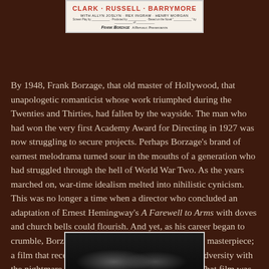[Figure (other): Movie poster for a film featuring Clark, Russell, Barrymore, with Allyn Joslyn, Rex Ingram, Henry Morgan. Directed by Frank Borzage. A Republic Presentation.]
By 1948, Frank Borzage, that old master of Hollywood, that unapologetic romanticist whose work triumphed during the Twenties and Thirties, had fallen by the wayside. The man who had won the very first Academy Award for Directing in 1927 was now struggling to secure projects. Perhaps Borzage's brand of earnest melodrama turned sour in the mouths of a generation who had struggled through the hell of World War Two. As the years marched on, war-time idealism melted into nihilistic cynicism. This was no longer a time when a director who concluded an adaptation of Ernest Hemingway's A Farewell to Arms with doves and church bells could flourish. And yet, as his career began to crumble, Borzage managed to release one more true masterpiece; a film that reconciled his passion for lovers facing adversity with the nightmare psychoses consuming America ego. That film was Moonrise.
[Figure (photo): Dark black and white film still from Moonrise showing shadowy figures.]